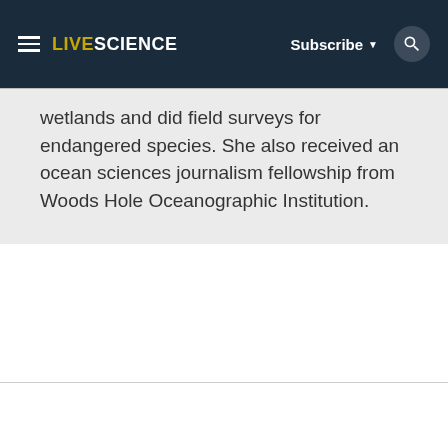LIVESCIENCE | Subscribe | Search
wetlands and did field surveys for endangered species. She also received an ocean sciences journalism fellowship from Woods Hole Oceanographic Institution.